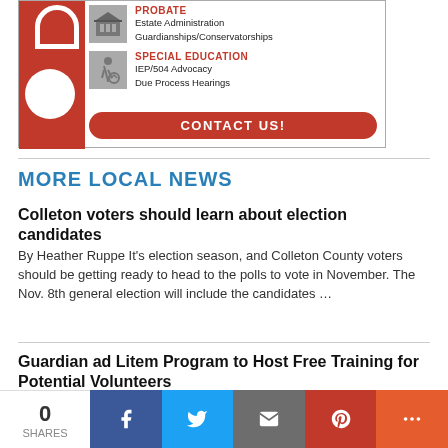[Figure (infographic): Law firm advertisement showing Probate and Special Education services with red logo, icons, and CONTACT US button]
MORE LOCAL NEWS
Colleton voters should learn about election candidates
By Heather Ruppe It's election season, and Colleton County voters should be getting ready to head to the polls to vote in November. The Nov. 8th general election will include the candidates …
Guardian ad Litem Program to Host Free Training for Potential Volunteers
David McAlhaney, Recruiter 843-277-5849